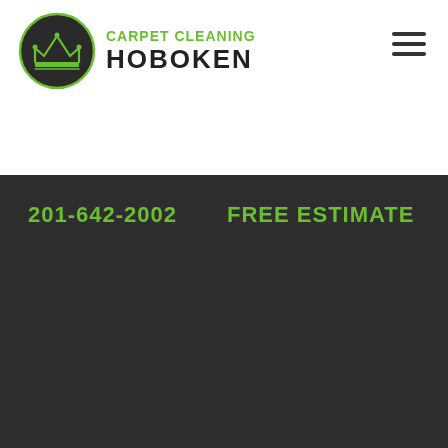[Figure (logo): Carpet Cleaning Hoboken logo: circular dark emblem with crown icon, green text 'CARPET CLEANING' above bold dark 'HOBOKEN']
[Figure (other): Hamburger menu icon (three horizontal lines) in top right corner]
201-642-2002
FREE ESTIMATE